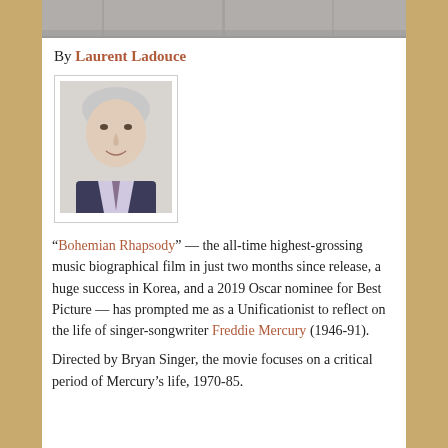[Figure (photo): Top banner photo of people, partially visible, cropped at top of page]
By Laurent Ladouce
[Figure (photo): Portrait photo of Laurent Ladouce, an older man in a suit and tie, smiling]
“Bohemian Rhapsody” — the all-time highest-grossing music biographical film in just two months since release, a huge success in Korea, and a 2019 Oscar nominee for Best Picture — has prompted me as a Unificationist to reflect on the life of singer-songwriter Freddie Mercury (1946-91).
Directed by Bryan Singer, the movie focuses on a critical period of Mercury’s life, 1970-85.